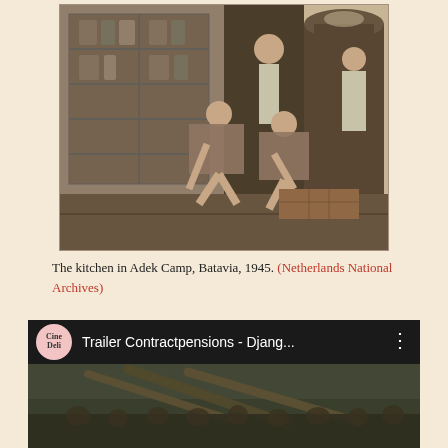[Figure (photo): Black and white historical photograph of the kitchen in Adek Camp, Batavia, 1945. Several people are shown working in the kitchen area, some bending over, with shelving/cabinets visible in the background and large cooking vessels.]
The kitchen in Adek Camp, Batavia, 1945. (Netherlands National Archives)
[Figure (screenshot): Screenshot of a YouTube-style video player showing a video titled 'Trailer Contractpensions - Djang...' from the CineDeli channel. The thumbnail shows a blurry outdoor scene with what appears to be a building and people.]